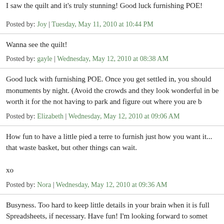I saw the quilt and it's truly stunning! Good luck furnishing POE!
Posted by: Joy | Tuesday, May 11, 2010 at 10:44 PM
Wanna see the quilt!
Posted by: gayle | Wednesday, May 12, 2010 at 08:38 AM
Good luck with furnishing POE. Once you get settled in, you should monuments by night. (Avoid the crowds and they look wonderful in be worth it for the not having to park and figure out where you are b
Posted by: Elizabeth | Wednesday, May 12, 2010 at 09:06 AM
How fun to have a little pied a terre to furnish just how you want it... that waste basket, but other things can wait.

xo
Posted by: Nora | Wednesday, May 12, 2010 at 09:36 AM
Busyness. Too hard to keep little details in your brain when it is full Spreadsheets, if necessary. Have fun! I'm looking forward to somet